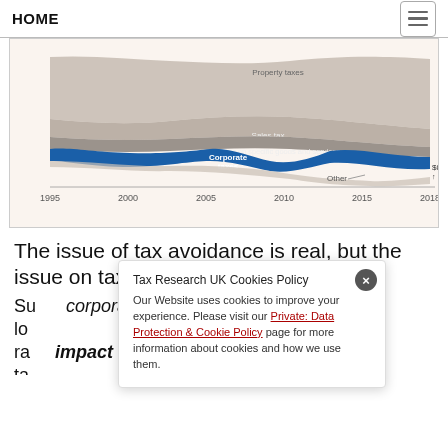HOME
[Figure (area-chart): Stacked area chart showing tax revenue components (Property taxes, Sales tax, Taxes on specific goods and services, Corporate taxes, Other) from 1995 to 2018. Corporate taxes shown in blue band. Other labeled at $0.1tn at 2018.]
Source: OECD
© FT
The issue of tax avoidance is real, but the issue on tax rates is as important,
Su...corporate lo...tax ra...impact on the ta...
Tax Research UK Cookies Policy
Our Website uses cookies to improve your experience. Please visit our Private: Data Protection & Cookie Policy page for more information about cookies and how we use them.